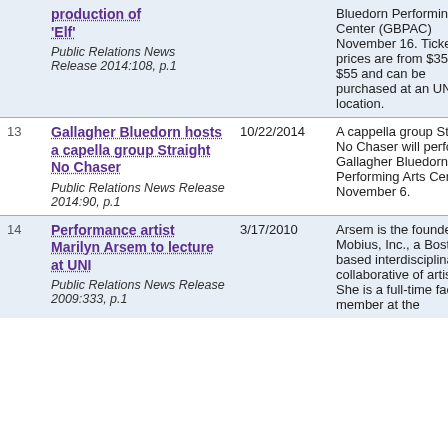| # | Title / Source | Date | Description |
| --- | --- | --- | --- |
|  | production of 'Elf'
Public Relations News Release 2014:108, p.1 |  | Bluedorn Performing Arts Center (GBPAC) November 16. Ticket prices are from $35 to $55 and can be purchased at an UNItix location. |
| 13 | Gallagher Bluedorn hosts a capella group Straight No Chaser
Public Relations News Release 2014:90, p.1 | 10/22/2014 | A cappella group Straight No Chaser will perform at Gallagher Bluedorn Performing Arts Center, November 6. |
| 14 | Performance artist Marilyn Arsem to lecture at UNI
Public Relations News Release 2009:333, p.1 | 3/17/2010 | Arsem is the founder of Mobius, Inc., a Boston-based interdisciplinary collaborative of artists. She is a full-time faculty member at the |